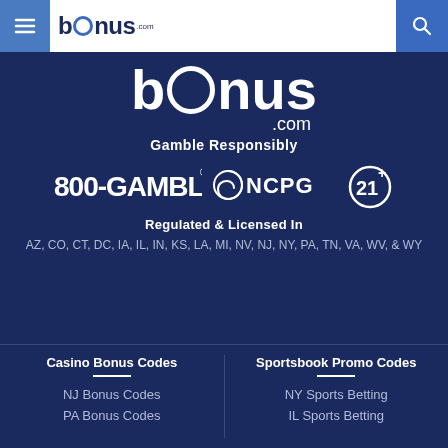bonus.com header with navigation menu and search
[Figure (logo): bonus.com large logo on dark blue background]
Gamble Responsibly
[Figure (logo): 800-GAMBLER, NCPG and 21+ logos]
Regulated & Licensed In
AZ, CO, CT, DC, IA, IL, IN, KS, LA, MI, NV, NJ, NY, PA, TN, VA, WV, & WY
Casino Bonus Codes
NJ Bonus Codes
PA Bonus Codes
Sportsbook Promo Codes
NY Sports Betting
IL Sports Betting